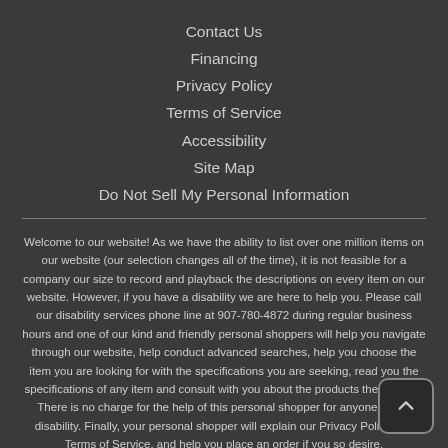Contact Us
Financing
Privacy Policy
Terms of Service
Accessibility
Site Map
Do Not Sell My Personal Information
Welcome to our website! As we have the ability to list over one million items on our website (our selection changes all of the time), it is not feasible for a company our size to record and playback the descriptions on every item on our website. However, if you have a disability we are here to help you. Please call our disability services phone line at 907-780-4872 during regular business hours and one of our kind and friendly personal shoppers will help you navigate through our website, help conduct advanced searches, help you choose the item you are looking for with the specifications you are seeking, read you the specifications of any item and consult with you about the products themselves. There is no charge for the help of this personal shopper for anyone with a disability. Finally, your personal shopper will explain our Privacy Policy and Terms of Service, and help you place an order if you so desire.